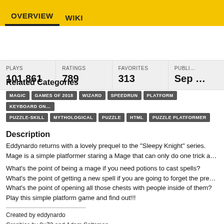OVERVIEW   WIKI
| PLAYS | RATINGS | FAVORITES | PUBLI... |
| --- | --- | --- | --- |
| 101,861 | 789 | 313 | Sep ... |
Related Categories
MAGIC  GAMES OF 2018  WIZARD  SPEEDRUN  PLATFORM  KEYBOARD ON... PUZZLE-SKILL  MYTHOLOGICAL  PUZZLE  HTML  PUZZLE PLATFORMER
Description
Eddynardo returns with a lovely prequel to the "Sleepy Knight" series. Mage is a simple platformer staring a Mage that can only do one trick a...
What's the point of being a mage if you need potions to cast spells? What's the point of getting a new spell if you are going to forget the pre... What's the point of opening all those chests with people inside of them? Play this simple platform game and find out!!!
Created by eddynardo
Graphics by 0×72 and Adam Saltsman
Theme song "The White Kitty" by Rolemusic
under an Attribution-ShareAlike License